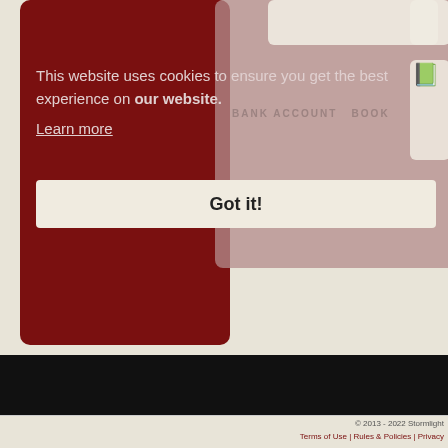This website uses cookies to ensure you get the best experience on our website. Learn more
Got it!
© 2013 - 2022 Stormlight  Terms of Use | Rules & Policies | Privacy